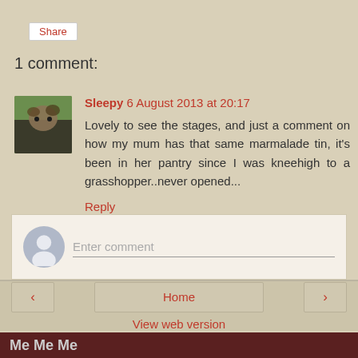Share
1 comment:
Sleepy 6 August 2013 at 20:17
Lovely to see the stages, and just a comment on how my mum has that same marmalade tin, it's been in her pantry since I was kneehigh to a grasshopper..never opened...
Reply
Enter comment
< Home > View web version
Me Me Me